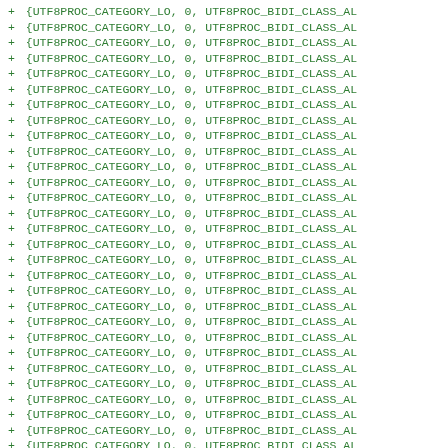+ {UTF8PROC_CATEGORY_LO, 0, UTF8PROC_BIDI_CLASS_AL (repeated ~30 lines)